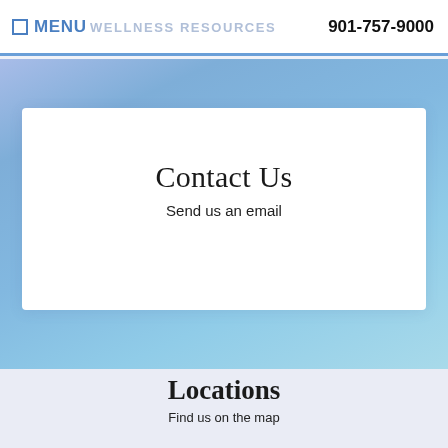MENU  WELLNESS RESOURCES  901-757-9000
Contact Us
Send us an email
Locations
Find us on the map